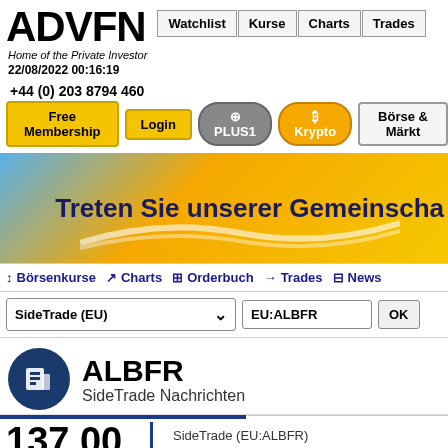ADVFN - Home of the Private Investor - 22/08/2022 00:16:19
+44 (0) 203 8794 460
Free Membership | Login | PLUS1 | Krypto | Börse & Märkt
[Figure (screenshot): ADVFN website banner: Treten Sie unserer Gemeinschaft bei]
Börsenkurse | Charts | Orderbuch | Trades | News
SideTrade (EU) | EU:ALBFR | OK
ALBFR
SideTrade Nachrichten
137.00
SideTrade (EU:ALBFR) Intraday Stock Chart